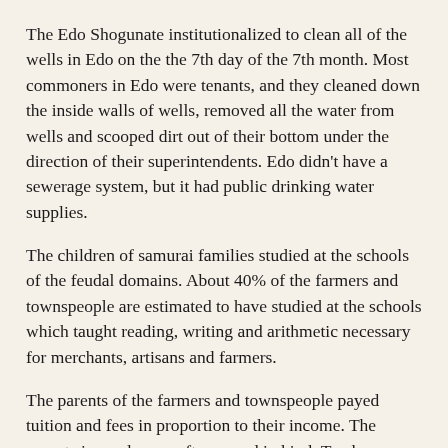The Edo Shogunate institutionalized to clean all of the wells in Edo on the the 7th day of the 7th month. Most commoners in Edo were tenants, and they cleaned down the inside walls of wells, removed all the water from wells and scooped dirt out of their bottom under the direction of their superintendents. Edo didn't have a sewerage system, but it had public drinking water supplies.
The children of samurai families studied at the schools of the feudal domains. About 40% of the farmers and townspeople are estimated to have studied at the schools which taught reading, writing and arithmetic necessary for merchants, artisans and farmers.
The parents of the farmers and townspeople payed tuition and fees in proportion to their income. The parents in rural areas often payed in kind. Terakoya school teachers were proud of their works, so they didn't expel the children of people that fell behind in their tuition payments.
It is said that Edo had a literacy rate of nearly 100 percent at the end of the Edo period.